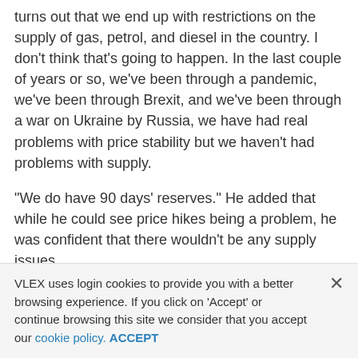turns out that we end up with restrictions on the supply of gas, petrol, and diesel in the country. I don't think that's going to happen. In the last couple of years or so, we've been through a pandemic, we've been through Brexit, and we've been through a war on Ukraine by Russia, we have had real problems with price stability but we haven't had problems with supply.
"We do have 90 days' reserves." He added that while he could see price hikes being a problem, he was confident that there wouldn't be any supply issues.
When asked about the explosive scenes between him and Sinn Fein TD Pearse Doherty in the Dail where Mr Varakar accused him of having "abused and mistreated" a member of An Garda Siochana...
VLEX uses login cookies to provide you with a better browsing experience. If you click on 'Accept' or continue browsing this site we consider that you accept our cookie policy. ACCEPT